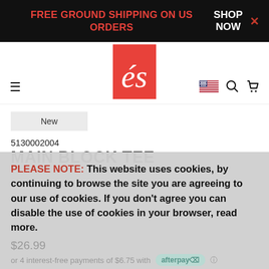FREE GROUND SHIPPING ON US ORDERS
SHOP NOW
[Figure (logo): és skate brand logo — white script 'és' on red rectangle background]
New
5130002004
MAIN BLOCK TEE
PLEASE NOTE: This website uses cookies, by continuing to browse the site you are agreeing to our use of cookies. If you don't agree you can disable the use of cookies in your browser, read more.
$26.99
or 4 interest-free payments of $6.75 with afterpay
I agree